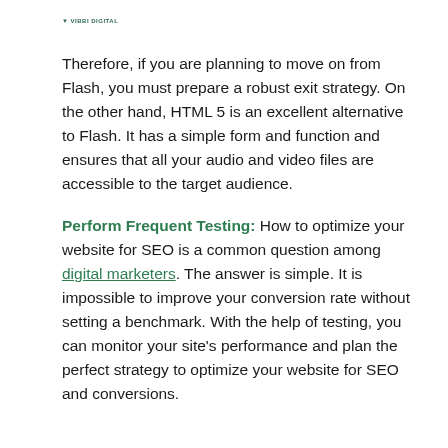VIBBI DIGITAL
Therefore, if you are planning to move on from Flash, you must prepare a robust exit strategy. On the other hand, HTML 5 is an excellent alternative to Flash. It has a simple form and function and ensures that all your audio and video files are accessible to the target audience.
Perform Frequent Testing: How to optimize your website for SEO is a common question among digital marketers. The answer is simple. It is impossible to improve your conversion rate without setting a benchmark. With the help of testing, you can monitor your site's performance and plan the perfect strategy to optimize your website for SEO and conversions.